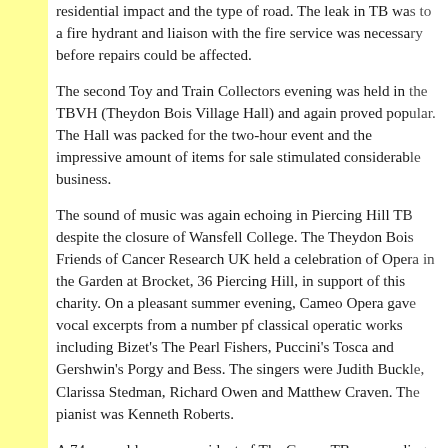residential impact and the type of road. The leak in TB was to a fire hydrant and liaison with the fire service was necessary before repairs could be affected.
The second Toy and Train Collectors evening was held in the TBVH (Theydon Bois Village Hall) and again proved popular. The Hall was packed for the two-hour event and the impressive amount of items for sale stimulated considerable business.
The sound of music was again echoing in Piercing Hill TB despite the closure of Wansfell College. The Theydon Bois Friends of Cancer Research UK held a celebration of Opera in the Garden at Brocket, 36 Piercing Hill, in support of this charity. On a pleasant summer evening, Cameo Opera gave vocal excerpts from a number pf classical operatic works including Bizet's The Pearl Fishers, Puccini's Tosca and Gershwin's Porgy and Bess. The singers were Judith Buckle, Clarissa Stedman, Richard Owen and Matthew Craven. The pianist was Kenneth Roberts.
A 74 year old woman resident of The Green, TB was reading her newspaper late in the evening when she [text continues below]